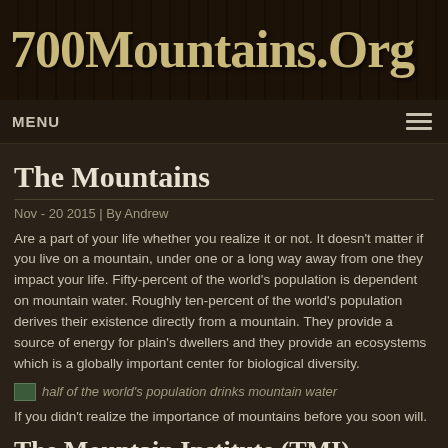700Mountains.Org
MENU
The Mountains
Nov - 20 2015 | By Andrew
Are a part of your life whether you realize it or not. It doesn't matter if you live on a mountain, under one or a long way away from one they impact your life. Fifty-percent of the world's population is dependent on mountain water. Roughly ten-percent of the world's population derives their existence directly from a mountain. They provide a source of energy for plain's dwellers and they provide an ecosystems which is a globally important center for biological diversity.
[Figure (photo): half of the world's population drinks mountain water]
If you didn't realize the importance of mountains before you soon will.
The Mountain Institute (TMI)
[Figure (photo): The Mountain Institute (TMI)]